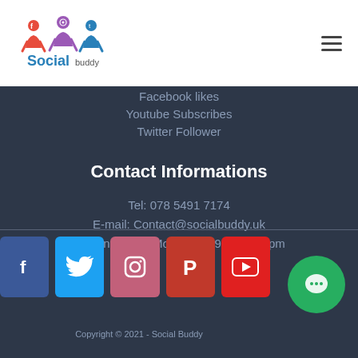Social Buddy logo and hamburger menu
Facebook likes
Youtube Subscribes
Twitter Follower
Contact Informations
Tel: 078 5491 7174
E-mail: Contact@socialbuddy.uk
Working Hour: Mon - Sat 09 am - 10 pm
[Figure (logo): Social media icons row: Facebook, Twitter, Instagram, Pinterest, YouTube]
Copyright © 2021 - Social Buddy